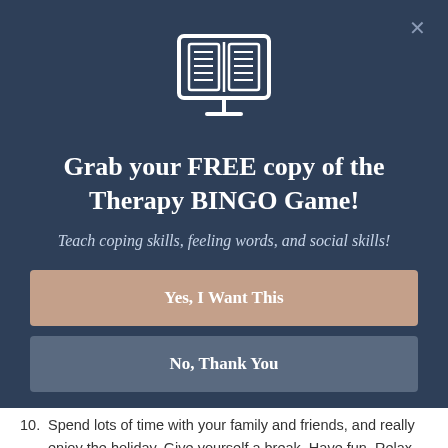[Figure (screenshot): Modal popup dialog with dark navy background showing a monitor/book icon at top, a title, subtitle, and two buttons (Yes, I Want This) and (No, Thank You). An X close button appears in top-right corner.]
Grab your FREE copy of the Therapy BINGO Game!
Teach coping skills, feeling words, and social skills!
Yes, I Want This
No, Thank You
exercising. Catch up on those months at school of not doing ⚡ by Convertful
10. Spend lots of time with your family and friends, and really enjoy the holiday. Give yourself a break. Have fun. Relax.
11. After you've done a relaxing phase, grinding while